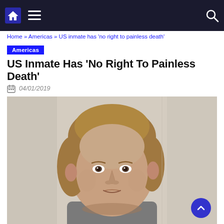Home » Americas » US inmate has ‘no right to painless death’
Americas
US Inmate Has ‘No Right To Painless Death’
04/01/2019
[Figure (photo): Mugshot-style photograph of a middle-aged white man with light brown/blonde hair, facing the camera, wearing a grey shirt, against a light institutional background.]